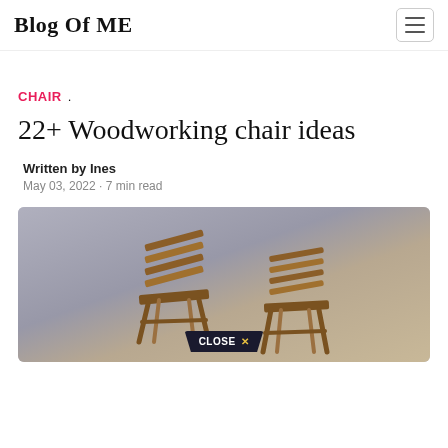Blog Of ME
CHAIR .
22+ Woodworking chair ideas
Written by Ines
May 03, 2022 · 7 min read
[Figure (photo): Photo of two wooden folding/deck chairs against a gray background, with a dark 'CLOSE X' overlay button at the bottom center.]